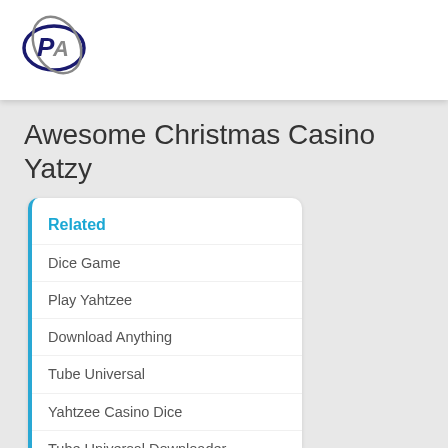[Figure (logo): Circular logo with stylized 'PA' letters in dark blue and gray]
Awesome Christmas Casino Yatzy
Related
Dice Game
Play Yahtzee
Download Anything
Tube Universal
Yahtzee Casino Dice
Tube Universal Downloader
Awesome Christmas Casino
Chris Isaak Songs
Cpp 2 Com
Free American Flag Wallpaper
Robot Game